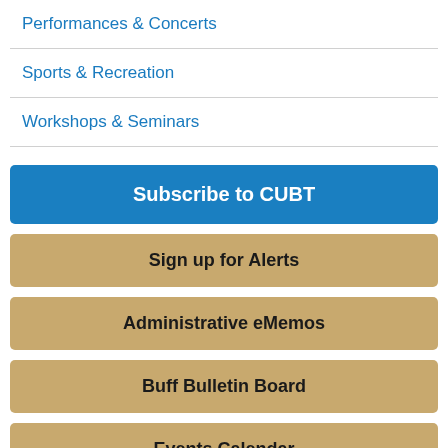Performances & Concerts
Sports & Recreation
Workshops & Seminars
Subscribe to CUBT
Sign up for Alerts
Administrative eMemos
Buff Bulletin Board
Events Calendar